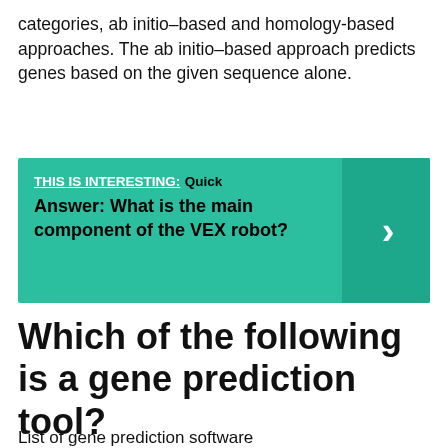categories, ab initio–based and homology-based approaches. The ab initio–based approach predicts genes based on the given sequence alone.
[Figure (infographic): THIS IS INTERESTING: Quick Answer: What is the main component of the VEX robot? — teal banner with right-arrow button]
Which of the following is a gene prediction tool?
List of gene prediction software
| Name | Description |
| --- | --- |
|  | Homology based gene prediction |